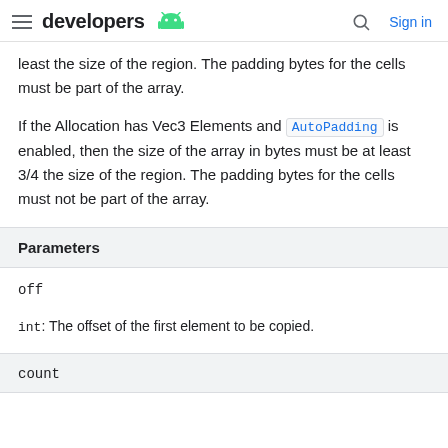developers [Android logo] | Search | Sign in
least the size of the region. The padding bytes for the cells must be part of the array.
If the Allocation has Vec3 Elements and AutoPadding is enabled, then the size of the array in bytes must be at least 3/4 the size of the region. The padding bytes for the cells must not be part of the array.
| Parameters |
| --- |
| off |  |
| int: The offset of the first element to be copied. |  |
| count |  |
off
int: The offset of the first element to be copied.
count